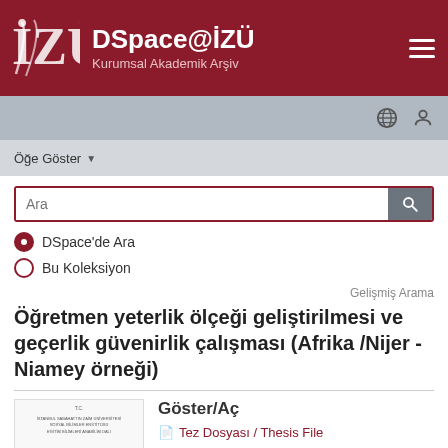DSpace@İZÜ — Kurumsal Akademik Arşiv
Öğe Göster
Ara
DSpace'de Ara
Bu Koleksiyon
Gelişmiş Arama
Öğretmen yeterlik ölçeği geliştirilmesi ve geçerlik güvenirlik çalışması (Afrika /Nijer - Niamey örneği)
Göster/Aç
Tez Dosyası / Thesis File